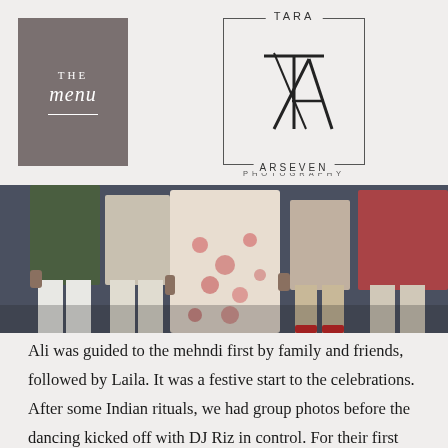[Figure (logo): THE menu text in a dark gray box on the left, and Tara Arseven Photography logo with TA monogram in a rectangular border on the right]
[Figure (photo): Wedding mehndi celebration photo showing people's lower bodies in traditional South Asian attire including a woman in a floral embroidered lehenga and men in kurta pajamas]
Ali was guided to the mehndi first by family and friends, followed by Laila. It was a festive start to the celebrations. After some Indian rituals, we had group photos before the dancing kicked off with DJ Riz in control. For their first dance, the love birds danced to Ve maahi. The family performances were epic, and the